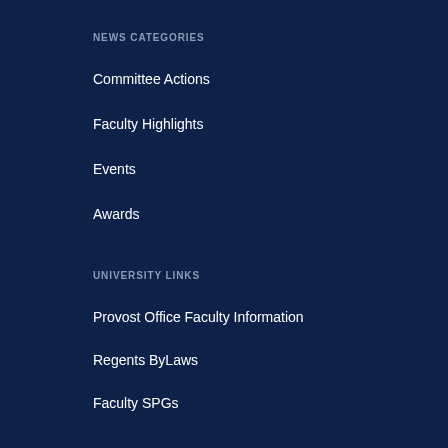NEWS CATEGORIES
Committee Actions
Faculty Highlights
Events
Awards
UNIVERSITY LINKS
Provost Office Faculty Information
Regents ByLaws
Faculty SPGs
Faculty Ombuds
©2020 The Regents of the University of Michigan
[Figure (logo): reCAPTCHA logo with Privacy and Terms text]